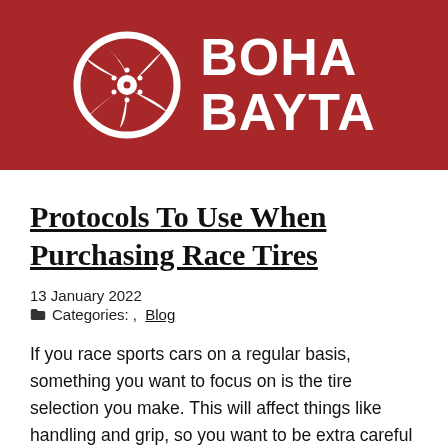[Figure (logo): Boha Bayta logo with a white car wheel/rim icon on a dark red background, next to bold white text reading BOHA BAYTA]
Protocols To Use When Purchasing Race Tires
13 January 2022
Categories: , Blog
If you race sports cars on a regular basis, something you want to focus on is the tire selection you make. This will affect things like handling and grip, so you want to be extra careful when deciding on a set. Here are some protocols that